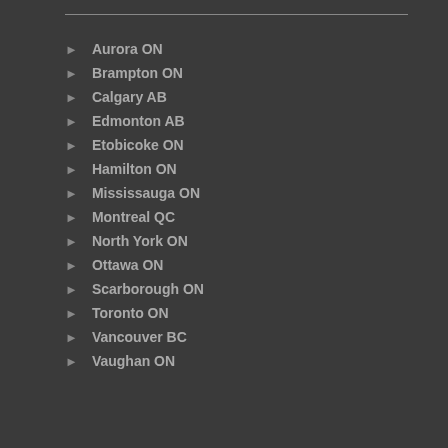Aurora ON
Brampton ON
Calgary AB
Edmonton AB
Etobicoke ON
Hamilton ON
Mississauga ON
Montreal QC
North York ON
Ottawa ON
Scarborough ON
Toronto ON
Vancouver BC
Vaughan ON